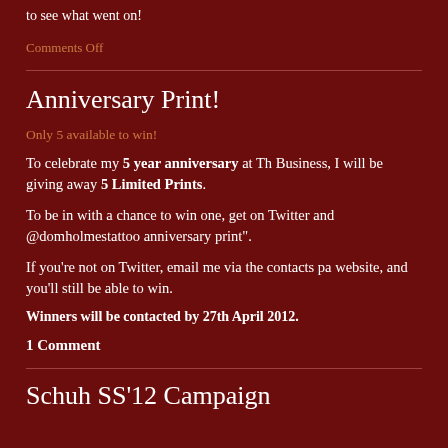to see what went on!
Comments Off
Anniversary Print!
Only 5 available to win!
To celebrate my 5 year anniversary at Th Business, I will be giving away 5 Limited Prints.
To be in with a chance to win one, get on Twitter and @domholmestattoo anniversary print".
If you're not on Twitter, email me via the contacts pa website, and you'll still be able to win.
Winners will be contacted by 27th April 2012.
1 Comment
Schuh SS'12 Campaign